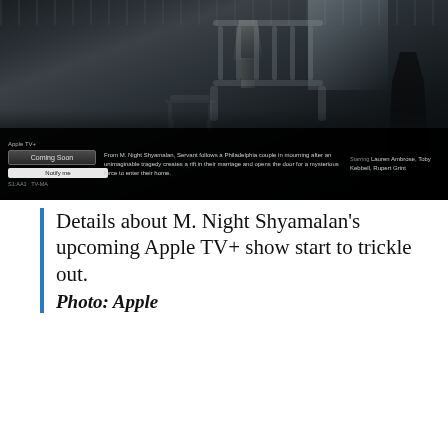[Figure (screenshot): Screenshot of an Apple TV+ page showing a dark, atmospheric scene of a nursery room with a crib, chair, window light, and a dark figure silhouetted at right. The page shows 'Coming Soon' button, 'Notify me' button, and description text about M. Night Shyamalan's show 'Servant'. Starring Lauren Ambrose, Toby Kebbell, Rupert Grint.]
Details about M. Night Shyamalan's upcoming Apple TV+ show start to trickle out. Photo: Apple